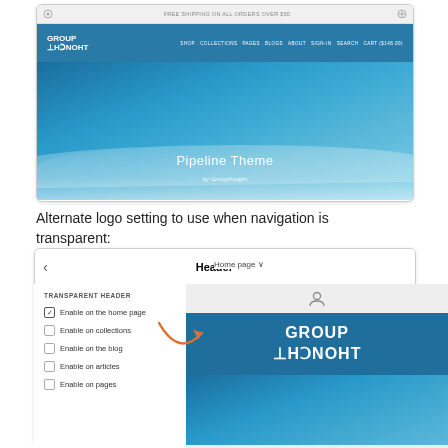[Figure (screenshot): Screenshot of a website showing 'Pipeline Theme by Groupthought' with a teal ocean hero image, navigation bar with GROUP THOUGHT logo, and menu items: SHOP, COLLECTIONS, PAGES, BLOGS, ABOUT, SIGN-IN, SEARCH, CART ($148.00)]
Alternate logo setting to use when navigation is transparent:
[Figure (screenshot): Screenshot showing a Shopify theme editor with a Header settings panel on the left (TRANSPARENT HEADER section with checkboxes: Enable on the home page (checked), Enable on collections, Enable on the blog, Enable on articles, Enable on pages) and a preview on the right showing a GROUP THOUGHT logo on a dark blue/teal background. An orange arrow points from the Header settings to the logo in the preview.]